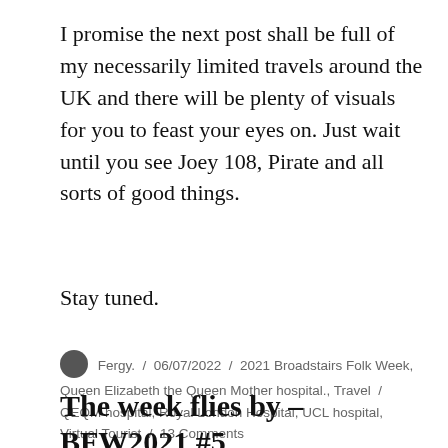I promise the next post shall be full of my necessarily limited travels around the UK and there will be plenty of visuals for you to feast your eyes on. Just wait until you see Joey 108, Pirate and all sorts of good things.
Stay tuned.
Fergy.  /  06/07/2022  /  2021 Broadstairs Folk Week, Queen Elizabeth the Queen Mother hospital., Travel  /  QEQM hospital, Royal London Hospital, UCL hospital, Virtual Tourist  /  13 Comments
The week flies by – BFW2021 #5